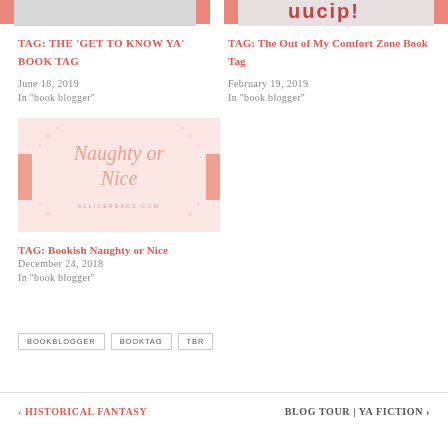[Figure (photo): Partial book blog image top left, cropped with pink accent bars]
[Figure (photo): Partial book blog image top right with red/pink text, cropped]
TAG: THE 'GET TO KNOW YA' BOOK TAG
June 18, 2019
In "book blogger"
TAG: The Out of My Comfort Zone Book Tag
February 19, 2019
In "book blogger"
[Figure (illustration): Naughty or Nice book tag graphic with pink cursive text on light pink background, allicereads.com]
TAG: Bookish Naughty or Nice
December 24, 2018
In "book blogger"
BOOKBLOGGER
BOOKTAG
TBR
< HISTORICAL FANTASY    BLOG TOUR | YA FICTION >